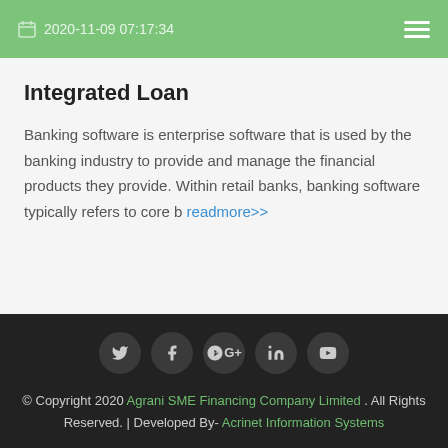2020-11-09 07:17:34
Integrated Loan
Banking software is enterprise software that is used by the banking industry to provide and manage the financial products they provide. Within retail banks, banking software typically refers to core b readmore>>
© Copyright 2020 Agrani SME Financing Company Limited . All Rights Reserved. | Developed By- Acrinet Information Systems